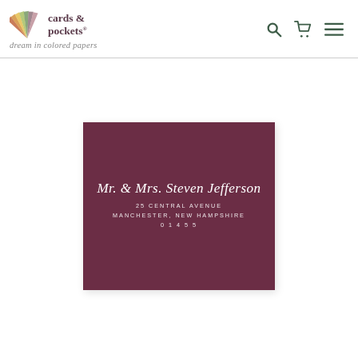[Figure (logo): Cards & Pockets logo with fan of colored paper swatches and tagline 'dream in colored papers']
[Figure (illustration): Burgundy/mauve square envelope with white printed address: 'Mr. & Mrs. Steven Jefferson, 25 Central Avenue, Manchester, New Hampshire, 01455']